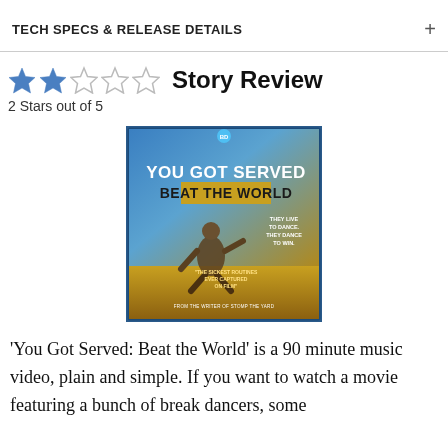TECH SPECS & RELEASE DETAILS +
★★☆☆☆ Story Review
2 Stars out of 5
[Figure (photo): Blu-ray cover of 'You Got Served: Beat the World' showing a break dancer leaping in the air against an urban background. Text on cover reads: YOU GOT SERVED BEAT THE WORLD, THEY LIVE TO DANCE. THEY DANCE TO WIN., 'THE SICKEST ROUTINES EVER CAPTURED ON FILM', FROM THE WRITER OF STOMP THE YARD.]
'You Got Served: Beat the World' is a 90 minute music video, plain and simple. If you want to watch a movie featuring a bunch of break dancers, some